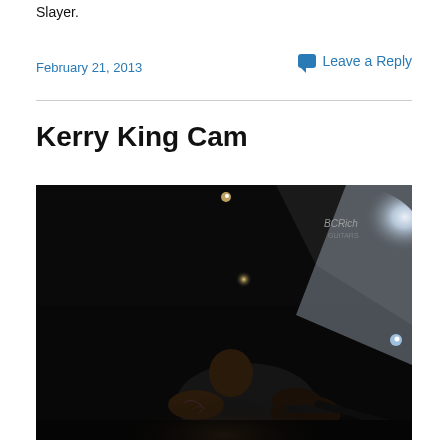Slayer.
February 21, 2013
Leave a Reply
Kerry King Cam
[Figure (photo): Kerry King of Slayer playing guitar on a dark stage with dramatic lighting, viewed from below. A watermark reading 'BC Rich Guitars' is visible in the upper right corner. The performer has tattoos and is playing an electric guitar under stage lights with a dark, dramatic atmosphere.]